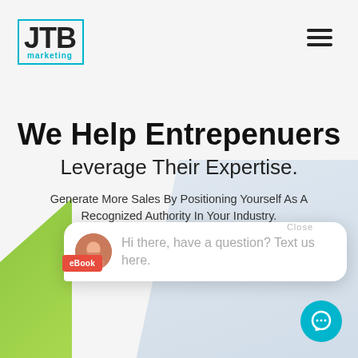[Figure (logo): JTB Marketing logo with teal square border, bold black JTB letters and teal 'marketing' text below]
We Help Entrepenuers
Leverage Their Expertise.
Generate More Sales By Positioning Yourself As A Recognized Authority In Your Industry.
[Figure (screenshot): Chat popup bubble with avatar photo and text: Hi there, have a question? Text us here.]
[Figure (illustration): Teal circle chat icon button in bottom right corner]